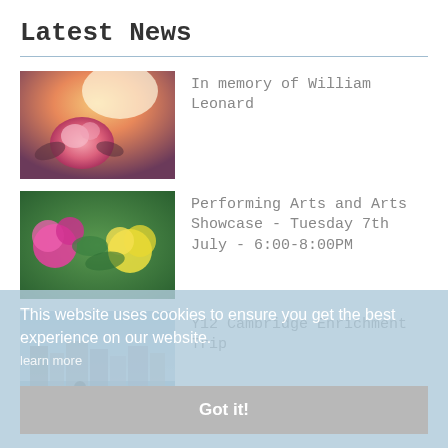Latest News
[Figure (photo): Pink rose with warm sunlight bokeh background]
In memory of William Leonard
[Figure (photo): Colorful pink and yellow flowers close-up]
Performing Arts and Arts Showcase - Tuesday 7th July - 6:00-8:00PM
[Figure (photo): City waterfront with buildings and person in foreground]
Y12 Cambridge Enrichment Trip
This website uses cookies to ensure you get the best experience on our website.
Got it!